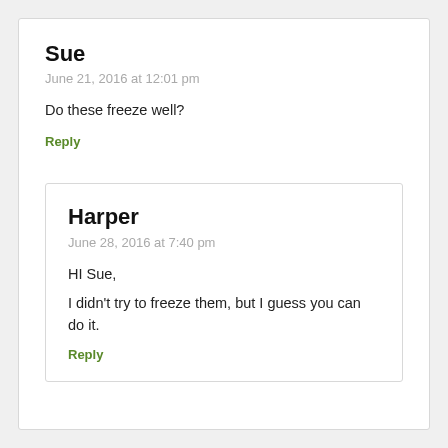Sue
June 21, 2016 at 12:01 pm
Do these freeze well?
Reply
Harper
June 28, 2016 at 7:40 pm
HI Sue,
I didn't try to freeze them, but I guess you can do it.
Reply